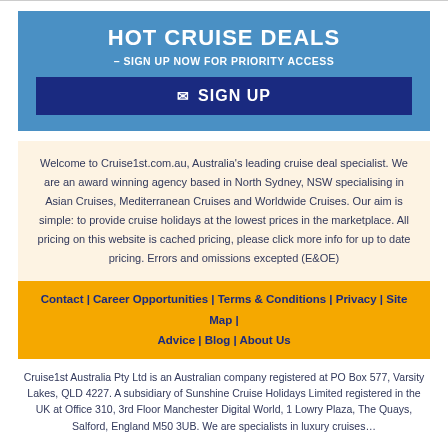HOT CRUISE DEALS – SIGN UP NOW FOR PRIORITY ACCESS
✉ SIGN UP
Welcome to Cruise1st.com.au, Australia's leading cruise deal specialist. We are an award winning agency based in North Sydney, NSW specialising in Asian Cruises, Mediterranean Cruises and Worldwide Cruises. Our aim is simple: to provide cruise holidays at the lowest prices in the marketplace. All pricing on this website is cached pricing, please click more info for up to date pricing. Errors and omissions excepted (E&OE)
Contact | Career Opportunities | Terms & Conditions | Privacy | Site Map | Advice | Blog | About Us
Cruise1st Australia Pty Ltd is an Australian company registered at PO Box 577, Varsity Lakes, QLD 4227. A subsidiary of Sunshine Cruise Holidays Limited registered in the UK at Office 310, 3rd Floor Manchester Digital World, 1 Lowry Plaza, The Quays, Salford, England M50 3UB. We are specialists in luxury cruises...